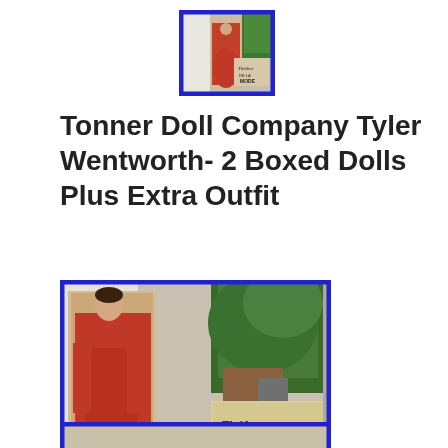[Figure (photo): Small thumbnail photo of a doll in a red dress inside a box, with Theatre de la Mode text visible on the box]
Tonner Doll Company Tyler Wentworth- 2 Boxed Dolls Plus Extra Outfit
[Figure (photo): Large photo of a doll wearing a red/coral long-sleeved gown, displayed in its open box. A Theatre de la Mode box is visible in the background. The eBay watermark is on the image. Green plants visible in background.]
[Figure (photo): Partial view of another photo at the bottom of the page, cut off]